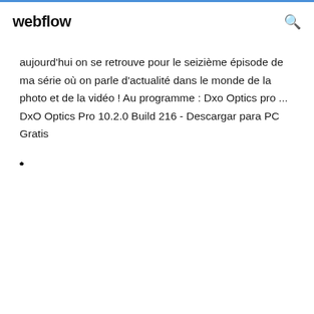webflow
aujourd'hui on se retrouve pour le seizième épisode de ma série où on parle d'actualité dans le monde de la photo et de la vidéo ! Au programme : Dxo Optics pro ... DxO Optics Pro 10.2.0 Build 216 - Descargar para PC Gratis